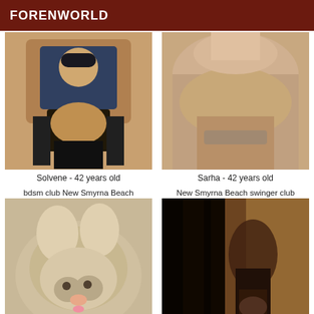FORENWORLD
[Figure (photo): Person in dark outfit seated]
[Figure (photo): Close-up of person's chin and neck]
Solvene - 42 years old
Sarha - 42 years old
bdsm club New Smyrna Beach
New Smyrna Beach swinger club
[Figure (photo): Kitten close-up photo]
[Figure (photo): Person in dark outfit mirror selfie]